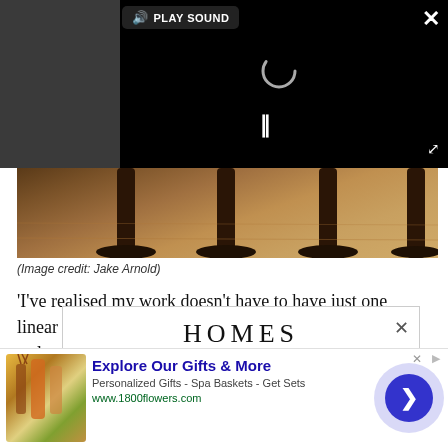[Figure (screenshot): Video player overlay on dark background showing a loading spinner and pause button, with PLAY SOUND button at top and close/expand controls]
[Figure (photo): Close-up photo of wooden stool legs with round bases sitting on a wood plank floor]
(Image credit: Jake Arnold)
'I've realised my work doesn't have to have just one linear path... with truly... to
[Figure (screenshot): HOMES magazine logo popup overlay with close X button]
[Figure (screenshot): Advertisement banner for 1800flowers.com: Explore Our Gifts & More, Personalized Gifts - Spa Baskets - Get Sets, www.1800flowers.com, with product image and arrow navigation button]